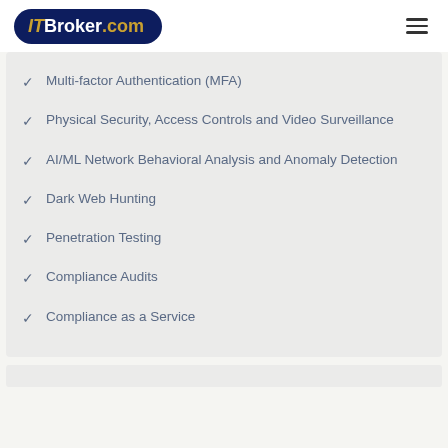ITBroker.com
Multi-factor Authentication (MFA)
Physical Security, Access Controls and Video Surveillance
AI/ML Network Behavioral Analysis and Anomaly Detection
Dark Web Hunting
Penetration Testing
Compliance Audits
Compliance as a Service